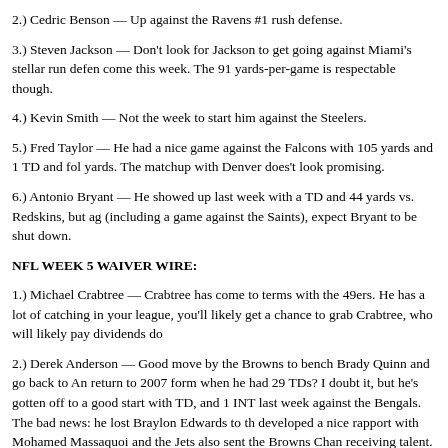2.) Cedric Benson — Up against the Ravens #1 rush defense.
3.) Steven Jackson — Don't look for Jackson to get going against Miami's stellar run defense come this week. The 91 yards-per-game is respectable though.
4.) Kevin Smith — Not the week to start him against the Steelers.
5.) Fred Taylor — He had a nice game against the Falcons with 105 yards and 1 TD and followed up with yards. The matchup with Denver does't look promising.
6.) Antonio Bryant — He showed up last week with a TD and 44 yards vs. Redskins, but against (including a game against the Saints), expect Bryant to be shut down.
NFL WEEK 5 WAIVER WIRE:
1.) Michael Crabtree — Crabtree has come to terms with the 49ers. He has a lot of catching in your league, you'll likely get a chance to grab Crabtree, who will likely pay dividends do
2.) Derek Anderson — Good move by the Browns to bench Brady Quinn and go back to Anderson. return to 2007 form when he had 29 TDs? I doubt it, but he's gotten off to a good start with TD, and 1 INT last week against the Bengals. The bad news: he lost Braylon Edwards to the developed a nice rapport with Mohamed Massaquoi and the Jets also sent the Browns Chan receiving talent.
3.) Mike Wallace (PIT — WR) — It's a good idea to pick up any player facing the Lions. Wallace may be your guy. Although he may not get a ton of receptions, he may post quality He had 7 receptions for 102 yards against the Bengals in week 2 and followed that up with against the Chargers. He has 2 deep receptions in each of those weeks, one for 35 yards and